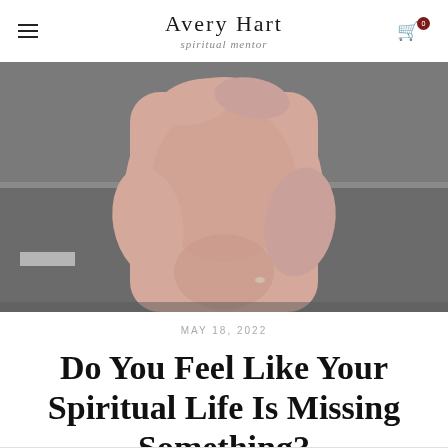Avery Hart spiritual mentor
[Figure (photo): Close-up photo of a person in a pink/blush hoodie standing on a road, torso only visible, arms slightly folded]
MAY 18, 2022
Do You Feel Like Your Spiritual Life Is Missing Something?